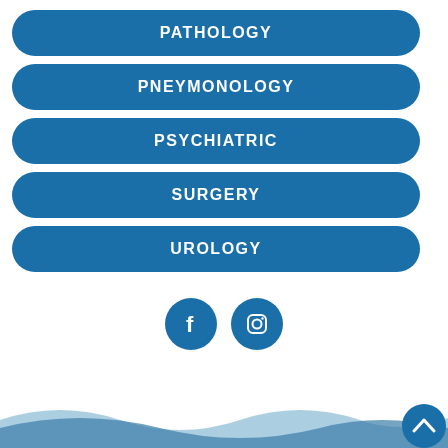PATHOLOGY
PNEYMONOLOGY
PSYCHIATRIC
SURGERY
UROLOGY
[Figure (illustration): Social media icons: Facebook and Instagram circular buttons in blue]
[Figure (illustration): Bottom wave/footer decoration with blue wave pattern and back-to-top arrow button]